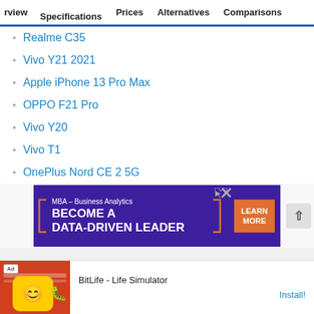rview  Specifications  Prices  Alternatives  Comparisons
Realme C35
Vivo Y21 2021
Apple iPhone 13 Pro Max
OPPO F21 Pro
Vivo Y20
Vivo T1
OnePlus Nord CE 2 5G
Samsung Galaxy S22 Ultra
[Figure (screenshot): Advertisement banner: MBA – Business Analytics, BECOME A DATA-DRIVEN LEADER, with LEARN MORE button]
[Figure (screenshot): Advertisement banner: BitLife - Life Simulator app ad with Install button]